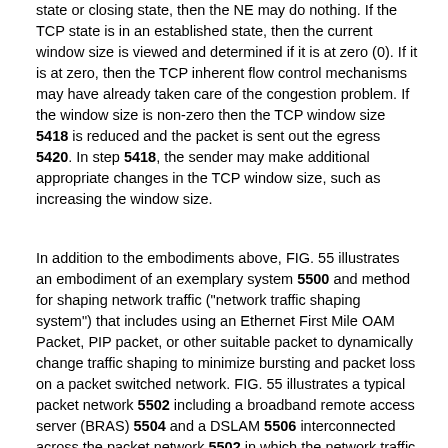state or closing state, then the NE may do nothing. If the TCP state is in an established state, then the current window size is viewed and determined if it is at zero (0). If it is at zero, then the TCP inherent flow control mechanisms may have already taken care of the congestion problem. If the window size is non-zero then the TCP window size 5418 is reduced and the packet is sent out the egress 5420. In step 5418, the sender may make additional appropriate changes in the TCP window size, such as increasing the window size.
In addition to the embodiments above, FIG. 55 illustrates an embodiment of an exemplary system 5500 and method for shaping network traffic ("network traffic shaping system") that includes using an Ethernet First Mile OAM Packet, PIP packet, or other suitable packet to dynamically change traffic shaping to minimize bursting and packet loss on a packet switched network. FIG. 55 illustrates a typical packet network 5502 including a broadband remote access server (BRAS) 5504 and a DSLAM 5506 interconnected across the packet network 5502 in which the network traffic shaping method operates. Typically, the packet network 5502 operates in Data Link Layer 3102